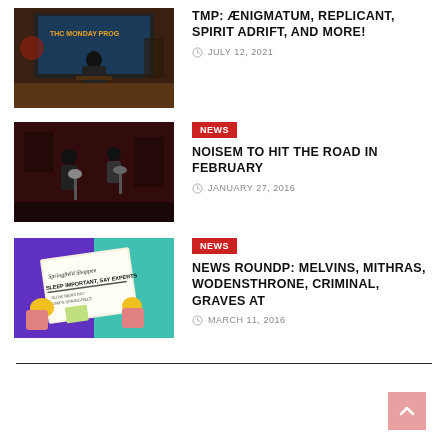[Figure (photo): TV show scene with person at podium, 'The Monday Program' text on screen]
TMP: ÆNIGMATUM, REPLICANT, SPIRIT ADRIFT, AND MORE!
JULY 12, 2021
NEWS
[Figure (photo): Band playing guitars in dark venue]
NOISEM TO HIT THE ROAD IN FEBRUARY
JANUARY 27, 2016
NEWS
[Figure (photo): Simpsons-style cartoon of Homer holding Springfield Shopper newspaper]
NEWS ROUNDP: MELVINS, MITHRAS, WODENSTHRONE, CRIMINAL, GRAVES AT
MARCH 11, 2016